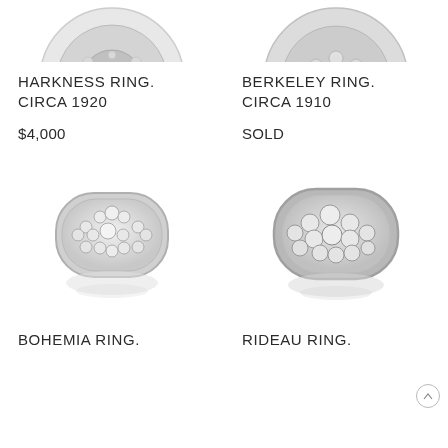[Figure (photo): Top portion of Harkness Ring diamond ring, shown from above, partially cropped]
[Figure (photo): Top portion of Berkeley Ring diamond ring, shown from above, partially cropped]
HARKNESS RING.
CIRCA 1920
$4,000
BERKELEY RING.
CIRCA 1910
SOLD
[Figure (photo): Bohemia Ring - diamond encrusted ring with pavé setting, cushion-shaped top, shown with reflection]
[Figure (photo): Rideau Ring - diamond encrusted ring with larger pavé stones, cushion-shaped top, shown with reflection]
BOHEMIA RING.
RIDEAU RING.